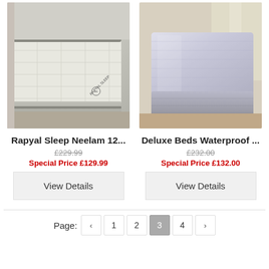[Figure (photo): Close-up photo of a white/cream Rapyal Sleep mattress corner showing quilted fabric and Rapyal Sleep logo, on grey base]
[Figure (photo): Photo of a Deluxe Beds mattress wrapped in plastic/cellophane packaging, standing upright in a room]
Rapyal Sleep Neelam 12...
£229.99
Special Price £129.99
Deluxe Beds Waterproof ...
£232.00
Special Price £132.00
View Details
View Details
Page: ‹ 1 2 3 4 ›